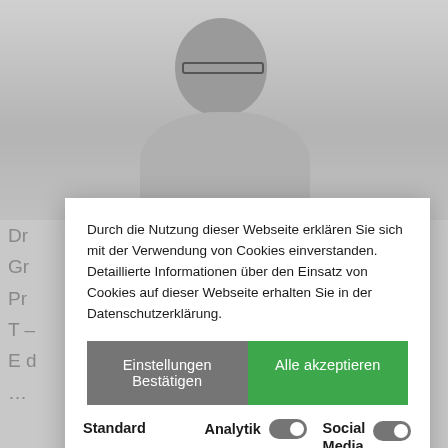[Figure (screenshot): Background webpage with blurred person photo (older woman with glasses, grey hair) and partially visible page content behind a cookie consent modal dialog]
Durch die Nutzung dieser Webseite erklären Sie sich mit der Verwendung von Cookies einverstanden. Detaillierte Informationen über den Einsatz von Cookies auf dieser Webseite erhalten Sie in der Datenschutzerklärung.
Einstellungen Bestätigen
Alle akzeptieren
Standard
Tools, die wesentliche Services und Funktionen ermöglichen.
Analytik
Tools, die anonyme Daten über Website-Nutzung und -Funktionalität sammeln. Wir
Social Media
Integration von Social Media Plugins.